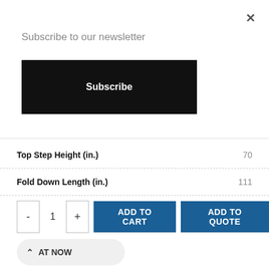Subscribe to our newsletter
Subscribe
| Attribute | Value |
| --- | --- |
| Top Step Height (in.) | 70 |
| Fold Down Length (in.) | 111 |
| Fold Down Width (in.) | 30 |
| Fold Down Height (in.) | 30 |
| Step Type | Perforated |
| OSHA | 1910.29 |
| ANSI | A14.7 |
- 1 + ADD TO CART ADD TO QUOTE
AT NOW